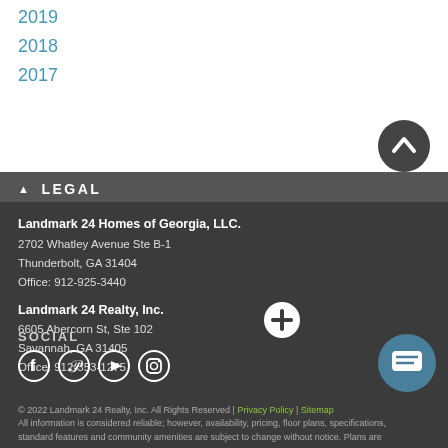2019
2018
2017
▲ LEGAL
Landmark 24 Homes of Georgia, LLC.
2702 Whatley Avenue Ste B-1
Thunderbolt, GA 31404
Office: 912-925-3440
Landmark 24 Realty, Inc.
6605 Abercorn St, Ste 102
Savannah, GA 31405
Office: 912-353-1275
SOCIAL
© 2022 Landmark 24 Realty, Inc. All Rights Reserved | Privacy Policy | Sitemap
All information is considered reliable; however, availability, pricing, floor plans, specifications, standard features and community amenities are subject to change without notice. Plans are